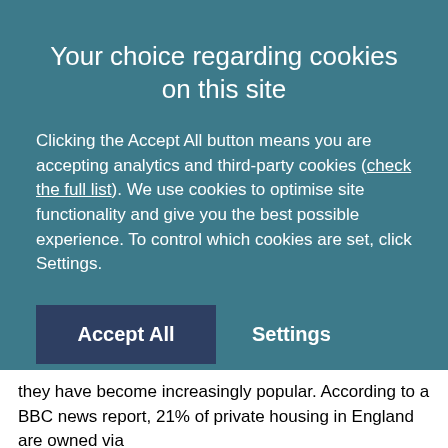Your choice regarding cookies on this site
Clicking the Accept All button means you are accepting analytics and third-party cookies (check the full list). We use cookies to optimise site functionality and give you the best possible experience. To control which cookies are set, click Settings.
they have become increasingly popular. According to a BBC news report, 21% of private housing in England are owned via